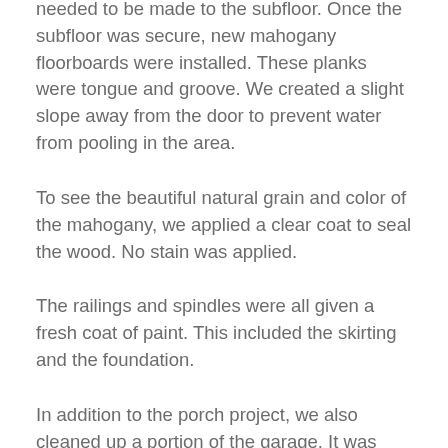needed to be made to the subfloor. Once the subfloor was secure, new mahogany floorboards were installed. These planks were tongue and groove. We created a slight slope away from the door to prevent water from pooling in the area.
To see the beautiful natural grain and color of the mahogany, we applied a clear coat to seal the wood. No stain was applied.
The railings and spindles were all given a fresh coat of paint. This included the skirting and the foundation.
In addition to the porch project, we also cleaned up a portion of the garage. It was also covered in